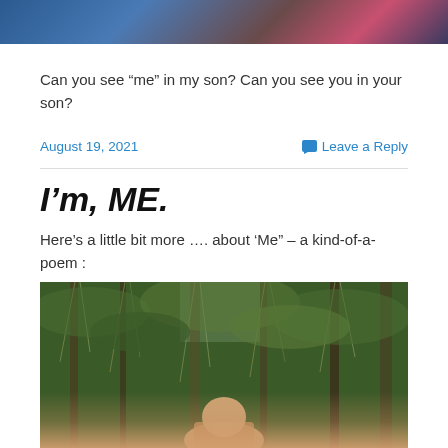[Figure (photo): Top portion of a photo showing two people, one in a blue jacket and one with a pink top visible, cropped at the top of the page]
Can you see “me” in my son? Can you see you in your son?
August 19, 2021
Leave a Reply
I’m, ME.
Here’s a little bit more …. about ‘Me” – a kind-of-a-poem :
[Figure (photo): Photo of a person in a forest or bush setting with dense hanging moss or lichen trees in the background, person visible from waist up at the bottom of the image]